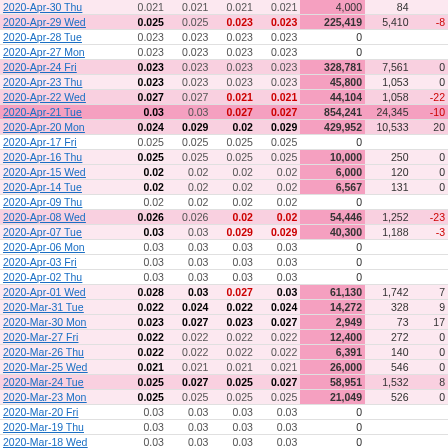| Date | Open | High | Low | Close | Volume | Value | Change |
| --- | --- | --- | --- | --- | --- | --- | --- |
| 2020-Apr-30 Thu | 0.021 | 0.021 | 0.021 | 0.021 | 4,000 | 84 |  |
| 2020-Apr-29 Wed | 0.025 | 0.025 | 0.023 | 0.023 | 225,419 | 5,410 | -8 |
| 2020-Apr-28 Tue | 0.023 | 0.023 | 0.023 | 0.023 | 0 |  |  |
| 2020-Apr-27 Mon | 0.023 | 0.023 | 0.023 | 0.023 | 0 |  |  |
| 2020-Apr-24 Fri | 0.023 | 0.023 | 0.023 | 0.023 | 328,781 | 7,561 | 0 |
| 2020-Apr-23 Thu | 0.023 | 0.023 | 0.023 | 0.023 | 45,800 | 1,053 | 0 |
| 2020-Apr-22 Wed | 0.027 | 0.027 | 0.021 | 0.021 | 44,104 | 1,058 | -22 |
| 2020-Apr-21 Tue | 0.03 | 0.03 | 0.027 | 0.027 | 854,241 | 24,345 | -10 |
| 2020-Apr-20 Mon | 0.024 | 0.029 | 0.02 | 0.029 | 429,952 | 10,533 | 20 |
| 2020-Apr-17 Fri | 0.025 | 0.025 | 0.025 | 0.025 | 0 |  |  |
| 2020-Apr-16 Thu | 0.025 | 0.025 | 0.025 | 0.025 | 10,000 | 250 | 0 |
| 2020-Apr-15 Wed | 0.02 | 0.02 | 0.02 | 0.02 | 6,000 | 120 | 0 |
| 2020-Apr-14 Tue | 0.02 | 0.02 | 0.02 | 0.02 | 6,567 | 131 | 0 |
| 2020-Apr-09 Thu | 0.02 | 0.02 | 0.02 | 0.02 | 0 |  |  |
| 2020-Apr-08 Wed | 0.026 | 0.026 | 0.02 | 0.02 | 54,446 | 1,252 | -23 |
| 2020-Apr-07 Tue | 0.03 | 0.03 | 0.029 | 0.029 | 40,300 | 1,188 | -3 |
| 2020-Apr-06 Mon | 0.03 | 0.03 | 0.03 | 0.03 | 0 |  |  |
| 2020-Apr-03 Fri | 0.03 | 0.03 | 0.03 | 0.03 | 0 |  |  |
| 2020-Apr-02 Thu | 0.03 | 0.03 | 0.03 | 0.03 | 0 |  |  |
| 2020-Apr-01 Wed | 0.028 | 0.03 | 0.027 | 0.03 | 61,130 | 1,742 | 7 |
| 2020-Mar-31 Tue | 0.022 | 0.024 | 0.022 | 0.024 | 14,272 | 328 | 9 |
| 2020-Mar-30 Mon | 0.023 | 0.027 | 0.023 | 0.027 | 2,949 | 73 | 17 |
| 2020-Mar-27 Fri | 0.022 | 0.022 | 0.022 | 0.022 | 12,400 | 272 | 0 |
| 2020-Mar-26 Thu | 0.022 | 0.022 | 0.022 | 0.022 | 6,391 | 140 | 0 |
| 2020-Mar-25 Wed | 0.021 | 0.021 | 0.021 | 0.021 | 26,000 | 546 | 0 |
| 2020-Mar-24 Tue | 0.025 | 0.027 | 0.025 | 0.027 | 58,951 | 1,532 | 8 |
| 2020-Mar-23 Mon | 0.025 | 0.025 | 0.025 | 0.025 | 21,049 | 526 | 0 |
| 2020-Mar-20 Fri | 0.03 | 0.03 | 0.03 | 0.03 | 0 |  |  |
| 2020-Mar-19 Thu | 0.03 | 0.03 | 0.03 | 0.03 | 0 |  |  |
| 2020-Mar-18 Wed | 0.03 | 0.03 | 0.03 | 0.03 | 0 |  |  |
| 2020-Mar-17 Tue | 0.03 | 0.03 | 0.03 | 0.03 | 6,610 | 198 | 0 |
| 2020-Mar-16 Mon | 0.04 | 0.04 | 0.04 | 0.04 | 0 |  |  |
| 2020-Mar-13 Fri | 0.04 | 0.04 | 0.04 | 0.04 | 11,218 | 448 | 0 |
| 2020-Mar-12 Thu | 0.05 | 0.05 | 0.05 | 0.05 | 0 |  |  |